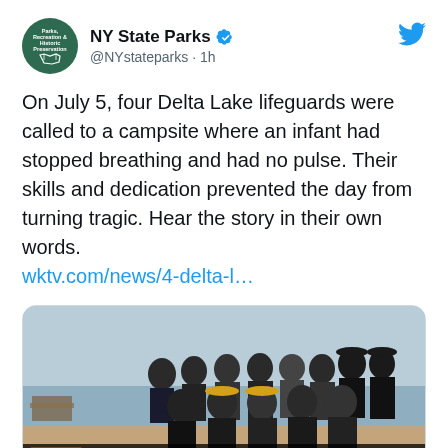[Figure (screenshot): NY State Parks logo avatar - green circle with Parks Recreation & Historic Preservation text and NY state outline]
NY State Parks @NYstateparks · 1h
On July 5, four Delta Lake lifeguards were called to a campsite where an infant had stopped breathing and had no pulse. Their skills and dedication prevented the day from turning tragic. Hear the story in their own words. wktv.com/news/4-delta-l…
[Figure (photo): Group photo of Delta Lake lifeguards honored for saving infant, shown in a TV news screenshot with chyron reading 'DELTA LAKE LIFEGUARDS HONORED FOR SAVING INFANT']
wktv.com
4 Delta Lake lifeguards honored for saving infant's life